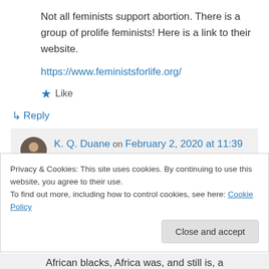Not all feminists support abortion. There is a group of prolife feminists! Here is a link to their website.
https://www.feministsforlife.org/
Like
Reply
K. Q. Duane on February 2, 2020 at 11:39 am
Privacy & Cookies: This site uses cookies. By continuing to use this website, you agree to their use.
To find out more, including how to control cookies, see here: Cookie Policy
Close and accept
African blacks, Africa was, and still is, a